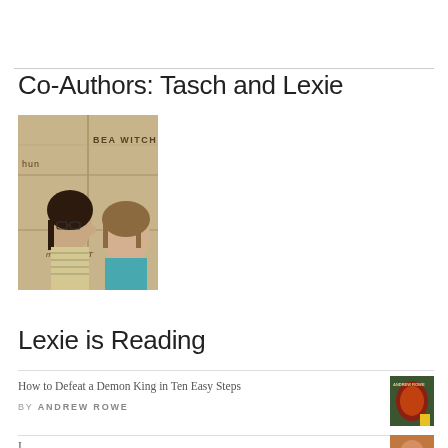Co-Authors: Tasch and Lexie
[Figure (photo): Two young women posing in front of a wall with carved wooden blocks. The blocks have text including 'BEA WITCH', 'hun', and 'metta FIST'. The woman on the left has dark hair and glasses and wears a striped top; the woman on the right has lighter hair and wears a teal top.]
Lexie is Reading
How to Defeat a Demon King in Ten Easy Steps
BY ANDREW ROWE
[Figure (photo): Small book cover thumbnail for 'How to Defeat a Demon King in Ten Easy Steps' by Andrew Rowe, showing a reddish-orange and green cover design with a yellow badge.]
I...
[Figure (photo): Small book cover thumbnail, partially visible, showing a figure with brown/orange tones.]